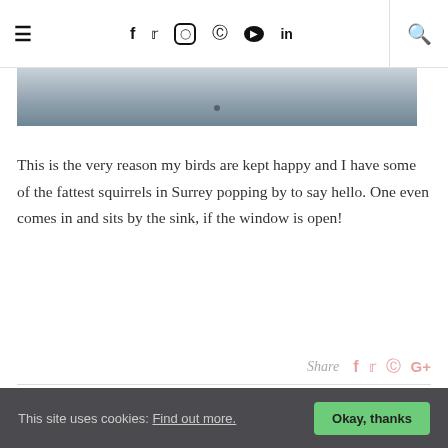≡ f 𝕥 Instagram Pinterest YouTube in 🔍
[Figure (photo): Partial photo strip showing a blueish-grey outdoor scene, likely sky or snow]
This is the very reason my birds are kept happy and I have some of the fattest squirrels in Surrey popping by to say hello. One even comes in and sits by the sink, if the window is open!
Share
YOU MIGHT ALSO LIKE
Perfect personalised summer accessory!
This site uses cookies: Find out more. Okay, thanks